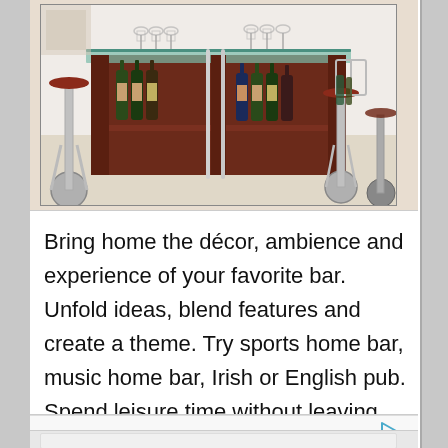[Figure (photo): A home bar setup with dark cherry wood bar counter, bar stools with chrome bases, hanging wine glasses, and multiple wine bottles on shelves. The bar has a glass top and is photographed in a home setting.]
Bring home the décor, ambience and experience of your favorite bar. Unfold ideas, blend features and create a theme. Try sports home bar, music home bar, Irish or English pub. Spend leisure time without leaving home.
[Figure (other): Advertisement area with a play/triangle icon on the right side and a white content box below.]